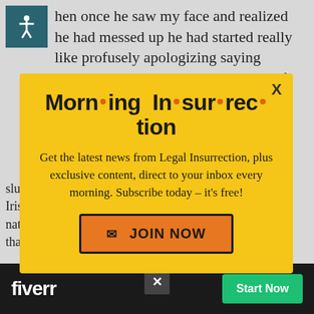hen once he saw my face and realized he had messed up he had started really like profusely apologizing saying ‘Please don’t tell anybody.’ When I left he said it again, ‘Please don’t tell
[Figure (other): Yellow popup overlay for Morning Insurrection newsletter signup with orange JOIN NOW button]
slur in the early 1980’s. At that time, Daly was an Irish race car driver who had just relocated from his native... that word can be in this country.
[Figure (other): Fiverr advertisement bar at bottom with Start Now green button and X close button]